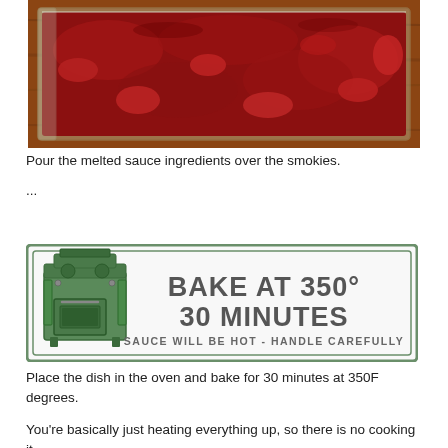[Figure (photo): Close-up of a glass baking dish filled with sausages covered in thick red sauce on a wooden surface]
Pour the melted sauce ingredients over the smokies.
...
[Figure (infographic): Infographic with green vintage stove illustration and bold text: BAKE AT 350° / 30 MINUTES / SAUCE WILL BE HOT - HANDLE CAREFULLY]
Place the dish in the oven and bake for 30 minutes at 350F degrees.
You're basically just heating everything up, so there is no cooking it